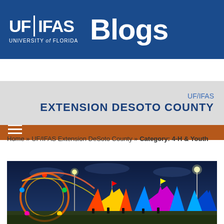[Figure (logo): UF/IFAS Blogs header banner with blue background, UF|IFAS logo and 'Blogs' text in white]
[Figure (other): Orange navigation bar with hamburger menu icon]
UF/IFAS
EXTENSION DESOTO COUNTY
Home » UF/IFAS Extension DeSoto County » Category: 4-H & Youth
[Figure (photo): Night photo of a county fair with colorful carnival rides, lit tents, and bright lights against a dark blue sky]